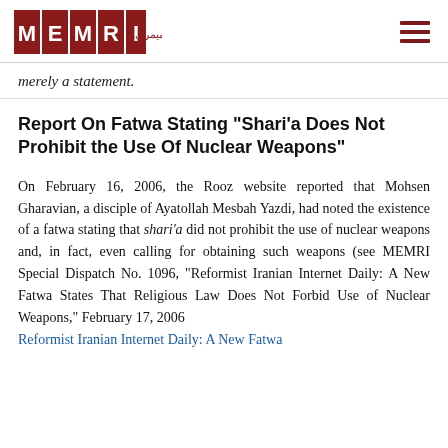MEMRI [logo]
merely a statement.
Report On Fatwa Stating "Shari'a Does Not Prohibit the Use Of Nuclear Weapons"
On February 16, 2006, the Rooz website reported that Mohsen Gharavian, a disciple of Ayatollah Mesbah Yazdi, had noted the existence of a fatwa stating that shari'a did not prohibit the use of nuclear weapons and, in fact, even calling for obtaining such weapons (see MEMRI Special Dispatch No. 1096, "Reformist Iranian Internet Daily: A New Fatwa States That Religious Law Does Not Forbid Use of Nuclear Weapons," February 17, 2006 Reformist Iranian Internet Daily: A New Fatwa